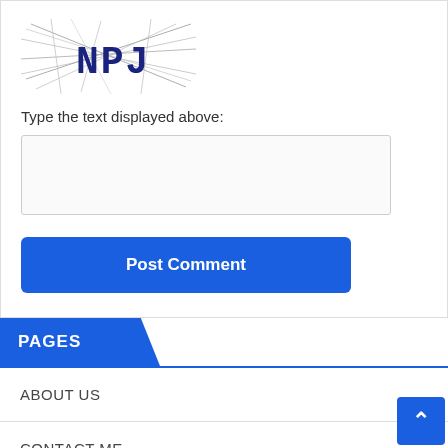[Figure (other): CAPTCHA image showing distorted text 'NPJ' with overlapping diagonal lines on white background]
Type the text displayed above:
[text input field]
Post Comment
PAGES
ABOUT US
CONTACT ME